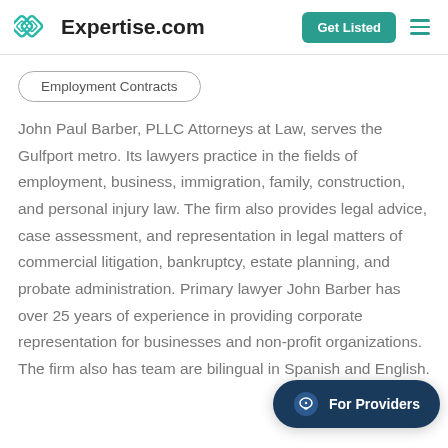Expertise.com
Employment Contracts
John Paul Barber, PLLC Attorneys at Law, serves the Gulfport metro. Its lawyers practice in the fields of employment, business, immigration, family, construction, and personal injury law. The firm also provides legal advice, case assessment, and representation in legal matters of commercial litigation, bankruptcy, estate planning, and probate administration. Primary lawyer John Barber has over 25 years of experience in providing corporate representation for businesses and non-profit organizations. The firm also has team are bilingual in Spanish and English.
For Providers